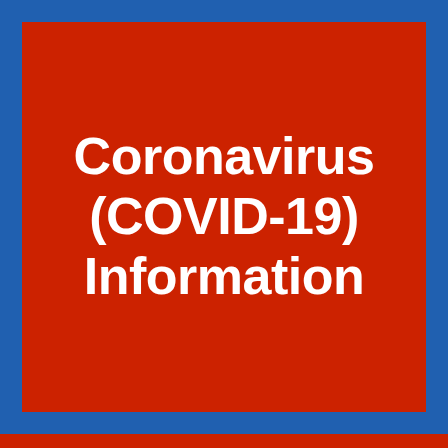[Figure (illustration): Blue background with large red square in center containing white bold text reading 'Coronavirus (COVID-19) Information'. A red stripe appears at the bottom of the page.]
Coronavirus (COVID-19) Information